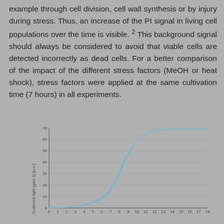example through cell division, cell wall synthesis or by injury during stress. Thus, an increase of the PI signal in living cell populations over the time is visible. 2 This background signal should always be considered to avoid that viable cells are detected incorrectly as dead cells. For a better comparison of the impact of the different stress factors (MeOH or heat shock), stress factors were applied at the same cultivation time (7 hours) in all experiments.
[Figure (continuous-plot): S-shaped growth curve showing Scattered light (gain 3) [a.u.] on y-axis (0 to 70) versus time on x-axis (0 to 18). Two overlapping sigmoid curves rise steeply between hours 7 and 10, then plateau around 65-67 a.u.]